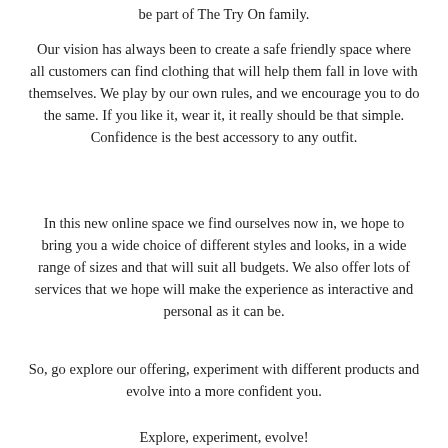be part of The Try On family.
Our vision has always been to create a safe friendly space where all customers can find clothing that will help them fall in love with themselves. We play by our own rules, and we encourage you to do the same. If you like it, wear it, it really should be that simple. Confidence is the best accessory to any outfit.
In this new online space we find ourselves now in, we hope to bring you a wide choice of different styles and looks, in a wide range of sizes and that will suit all budgets. We also offer lots of services that we hope will make the experience as interactive and personal as it can be.
So, go explore our offering, experiment with different products and evolve into a more confident you.
Explore, experiment, evolve!